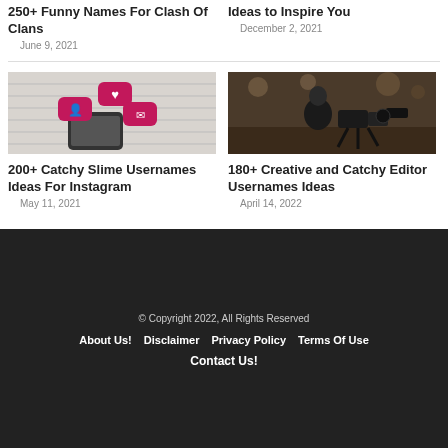250+ Funny Names For Clash Of Clans
June 9, 2021
Ideas to Inspire You
December 2, 2021
[Figure (photo): Phone with social media heart and person notification bubbles floating above it on a wooden background]
200+ Catchy Slime Usernames Ideas For Instagram
May 11, 2021
[Figure (photo): Person in black t-shirt working with video cameras and equipment on a table in a restaurant setting]
180+ Creative and Catchy Editor Usernames Ideas
April 14, 2022
© Copyright 2022, All Rights Reserved
About Us!  Disclaimer  Privacy Policy  Terms Of Use
Contact Us!